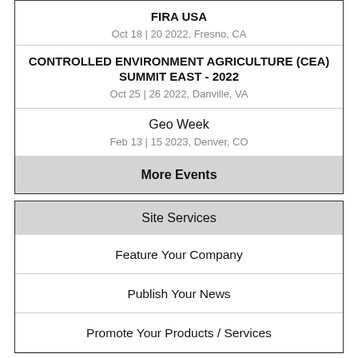FIRA USA
Oct 18 | 20 2022, Fresno, CA
CONTROLLED ENVIRONMENT AGRICULTURE (CEA) SUMMIT EAST - 2022
Oct 25 | 26 2022, Danville, VA
Geo Week
Feb 13 | 15 2023, Denver, CO
More Events
Site Services
Feature Your Company
Publish Your News
Promote Your Products / Services